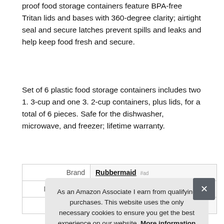proof food storage containers feature BPA-free Tritan lids and bases with 360-degree clarity; airtight seal and secure latches prevent spills and leaks and help keep food fresh and secure.
Set of 6 plastic food storage containers includes two 1. 3-cup and one 3. 2-cup containers, plus lids, for a total of 6 pieces. Safe for the dishwasher, microwave, and freezer; lifetime warranty.
|  |  |
| --- | --- |
| Brand | Rubbermaid #ad |
| Manufacturer | Rubbermaid #ad |
| Height | 5.38 Inches |
As an Amazon Associate I earn from qualifying purchases. This website uses the only necessary cookies to ensure you get the best experience on our website. More information